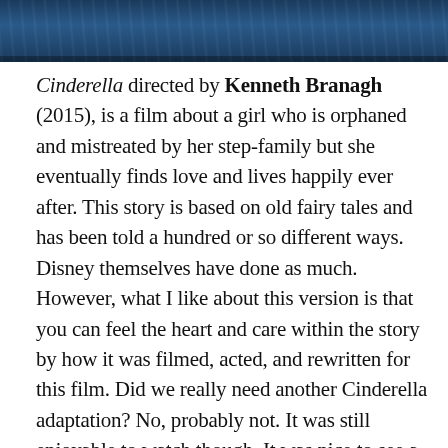[Figure (photo): Top portion of a movie scene image, showing dark blue cinematic visuals, appears to be from the Cinderella (2015) film.]
Cinderella directed by Kenneth Branagh (2015), is a film about a girl who is orphaned and mistreated by her step-family but she eventually finds love and lives happily ever after. This story is based on old fairy tales and has been told a hundred or so different ways. Disney themselves have done as much. However, what I like about this version is that you can feel the heart and care within the story by how it was filmed, acted, and rewritten for this film. Did we really need another Cinderella adaptation? No, probably not. It was still enjoyable to watch though. It was nice to see a more wild and choosing to be kind Cinderella rather than a strict servant-slave type relationship. It made the character more endearing. The Prince felt warmer in this version so